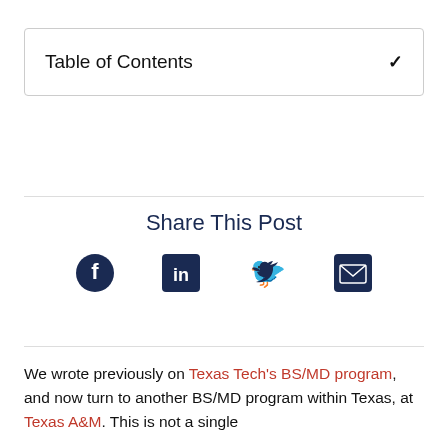Table of Contents
Share This Post
[Figure (infographic): Social media share icons: Facebook, LinkedIn, Twitter, Email]
We wrote previously on Texas Tech's BS/MD program, and now turn to another BS/MD program within Texas, at Texas A&M. This is not a single